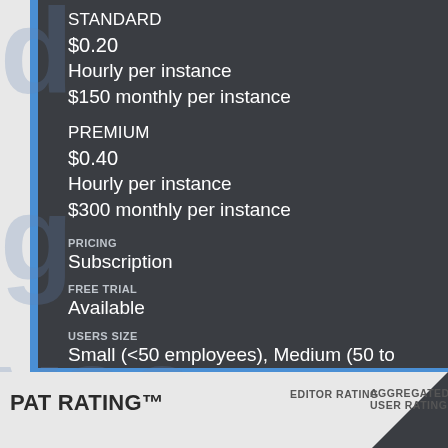STANDARD
$0.20
Hourly per instance
$150 monthly per instance
PREMIUM
$0.40
Hourly per instance
$300 monthly per instance
PRICING
Subscription
FREE TRIAL
Available
USERS SIZE
Small (<50 employees), Medium (50 to 1000 Enterprise (>1001 employees)
COMPANY
Engine Yard
PAT RATING™
EDITOR RATING
AGGREGATED USER RATING